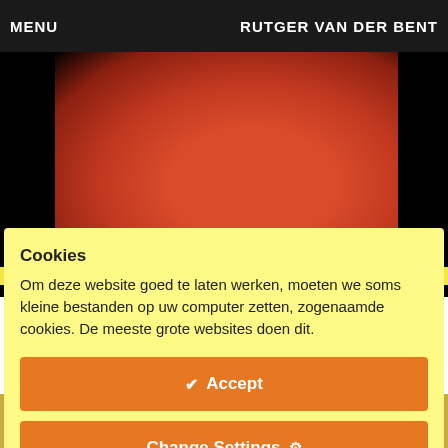MENU   RUTGER VAN DER BENT
[Figure (photo): Close-up photo of red knit fabric/sweater against dark background]
Cookies
Om deze website goed te laten werken, moeten we soms kleine bestanden op uw computer zetten, zogenaamde cookies. De meeste grote websites doen dit.
✔ Accept
Change Settings ⚙
[Figure (photo): Partial view of person's face at bottom of page]